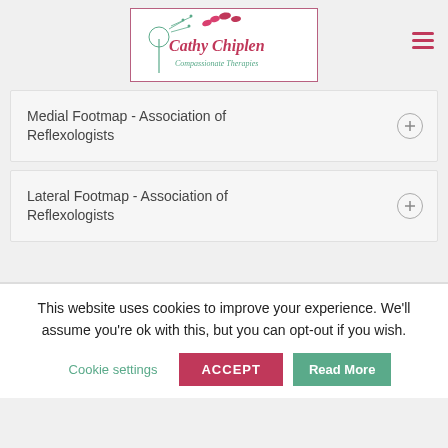[Figure (logo): Cathy Chiplen Compassionate Therapies logo with dandelion and butterfly illustration in a pink bordered box]
Medial Footmap - Association of Reflexologists
Lateral Footmap - Association of Reflexologists
This website uses cookies to improve your experience. We'll assume you're ok with this, but you can opt-out if you wish.
Cookie settings
ACCEPT
Read More